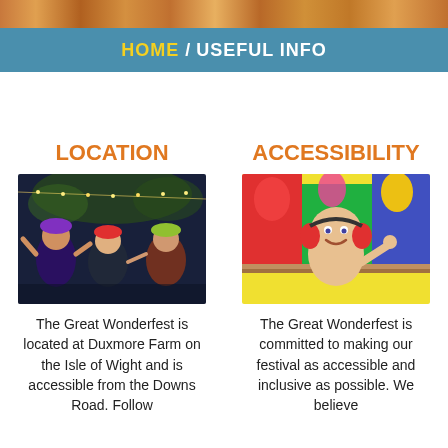[Figure (photo): Festival crowd photo at the top of the page]
HOME / USEFUL INFO
LOCATION
[Figure (photo): Three young people at a festival at night with colourful lights, wearing hats, smiling and dancing]
The Great Wonderfest is located at Duxmore Farm on the Isle of Wight and is accessible from the Downs Road. Follow
ACCESSIBILITY
[Figure (photo): Child with ear defenders at a festival with colourful balloons and flags in the background]
The Great Wonderfest is committed to making our festival as accessible and inclusive as possible. We believe